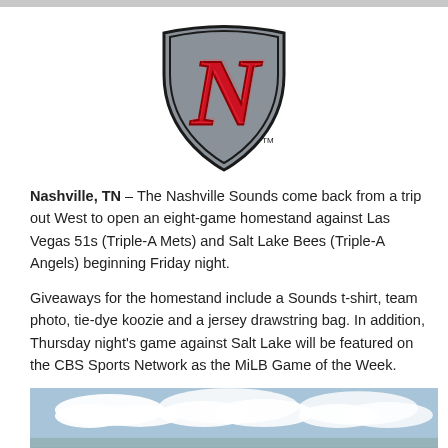[Figure (logo): Nashville Sounds baseball team logo — a stylized red letter N on a gray shield-shaped background with dark outline and TM mark]
Nashville, TN – The Nashville Sounds come back from a trip out West to open an eight-game homestand against Las Vegas 51s (Triple-A Mets) and Salt Lake Bees (Triple-A Angels) beginning Friday night.
Giveaways for the homestand include a Sounds t-shirt, team photo, tie-dye koozie and a jersey drawstring bag. In addition, Thursday night's game against Salt Lake will be featured on the CBS Sports Network as the MiLB Game of the Week.
[Figure (photo): Partial outdoor photo showing a blue sky with white clouds at the bottom of the page]